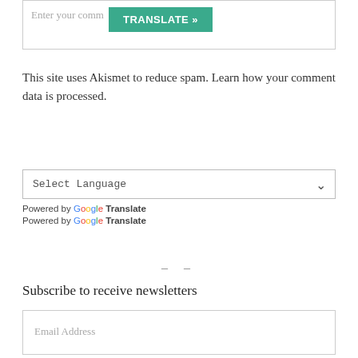[Figure (screenshot): Comment input box with green TRANSLATE button in top right corner]
This site uses Akismet to reduce spam. Learn how your comment data is processed.
[Figure (screenshot): Select Language dropdown with chevron arrow, followed by two Powered by Google Translate lines]
– –
Subscribe to receive newsletters
[Figure (screenshot): Email Address input box]